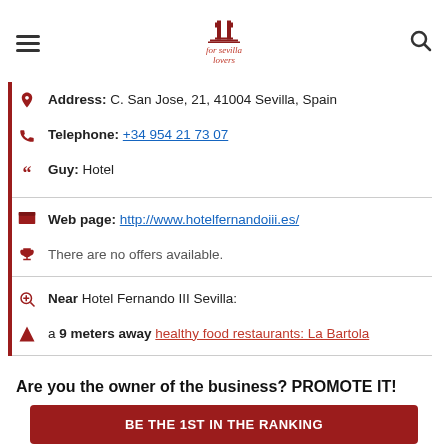for sevilla lovers (logo)
Address: C. San Jose, 21, 41004 Sevilla, Spain
Telephone: +34 954 21 73 07
Guy: Hotel
Web page: http://www.hotelfernandoiii.es/
There are no offers available.
Near Hotel Fernando III Sevilla:
a 9 meters away healthy food restaurants: La Bartola
Are you the owner of the business? PROMOTE IT!
BE THE 1ST IN THE RANKING
EXCLUSIVE PAGE